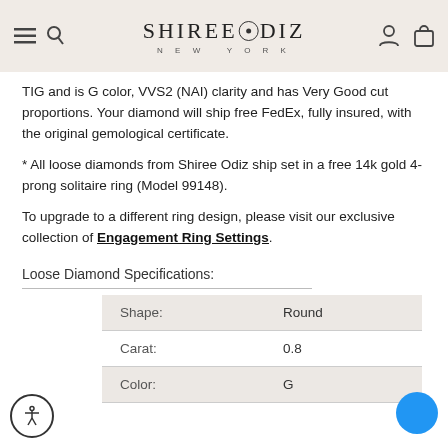SHIREE ODIZ NEW YORK
TIG and is G color, VVS2 (NAI) clarity and has Very Good cut proportions. Your diamond will ship free FedEx, fully insured, with the original gemological certificate.
* All loose diamonds from Shiree Odiz ship set in a free 14k gold 4-prong solitaire ring (Model 99148).
To upgrade to a different ring design, please visit our exclusive collection of Engagement Ring Settings.
Loose Diamond Specifications:
|  |  |
| --- | --- |
| Shape: | Round |
| Carat: | 0.8 |
| Color: | G |